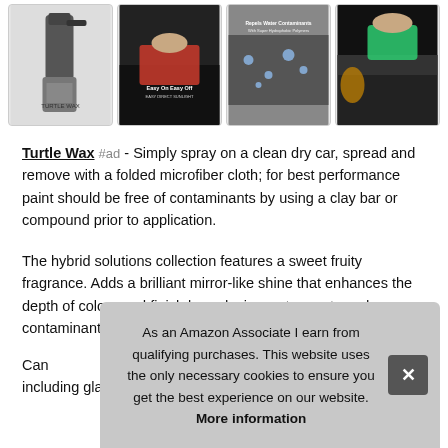[Figure (photo): Strip of four product images: a spray bottle of Turtle Wax, a red cloth wiping a black car, a black car hood with water beading, and a hand applying product on a car.]
Turtle Wax #ad - Simply spray on a clean dry car, spread and remove with a folded microfiber cloth; for best performance paint should be free of contaminants by using a clay bar or compound prior to application.
The hybrid solutions collection features a sweet fruity fragrance. Adds a brilliant mirror-like shine that enhances the depth of colour and finish by reducing water spots and contaminant deposits.
Can... including glass, trim and wheels, headlights, not recommended
As an Amazon Associate I earn from qualifying purchases. This website uses the only necessary cookies to ensure you get the best experience on our website. More information